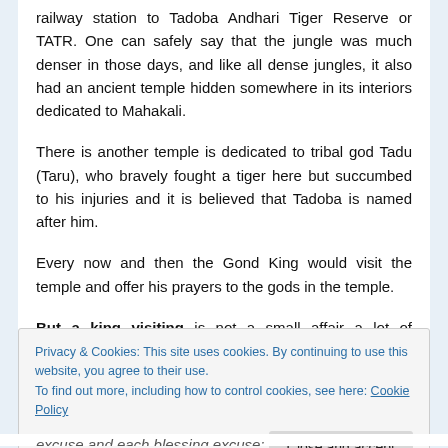railway station to Tadoba Andhari Tiger Reserve or TATR. One can safely say that the jungle was much denser in those days, and like all dense jungles, it also had an ancient temple hidden somewhere in its interiors dedicated to Mahakali.
There is another temple is dedicated to tribal god Tadu (Taru), who bravely fought a tiger here but succumbed to his injuries and it is believed that Tadoba is named after him.
Every now and then the Gond King would visit the temple and offer his prayers to the gods in the temple.
But a king visiting is not a small affair a lot of arrangement
Privacy & Cookies: This site uses cookies. By continuing to use this website, you agree to their use.
To find out more, including how to control cookies, see here: Cookie Policy
Close and accept
excuse and each blessing excuse: